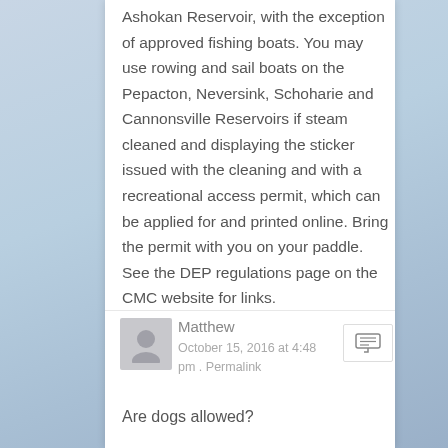Ashokan Reservoir, with the exception of approved fishing boats. You may use rowing and sail boats on the Pepacton, Neversink, Schoharie and Cannonsville Reservoirs if steam cleaned and displaying the sticker issued with the cleaning and with a recreational access permit, which can be applied for and printed online. Bring the permit with you on your paddle. See the DEP regulations page on the CMC website for links.
Matthew
October 15, 2016 at 4:48 pm . Permalink
Are dogs allowed?